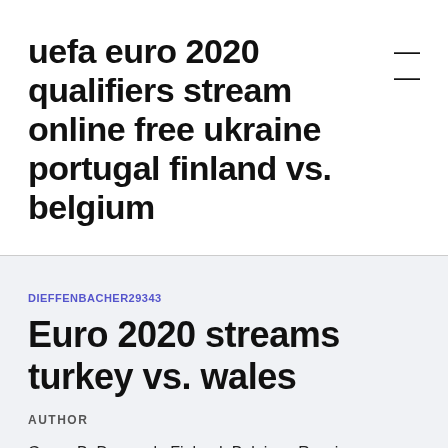uefa euro 2020 qualifiers stream online free ukraine portugal finland vs. belgium
DIEFFENBACHER29343
Euro 2020 streams turkey vs. wales
AUTHOR
Group B: Denmark, Finland, Belgium, Russia.